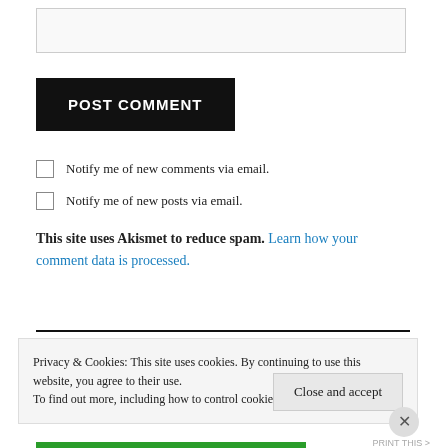[Figure (other): Text input field (form element)]
POST COMMENT
Notify me of new comments via email.
Notify me of new posts via email.
This site uses Akismet to reduce spam. Learn how your comment data is processed.
Privacy & Cookies: This site uses cookies. By continuing to use this website, you agree to their use. To find out more, including how to control cookies, see here: Cookie Policy
Close and accept